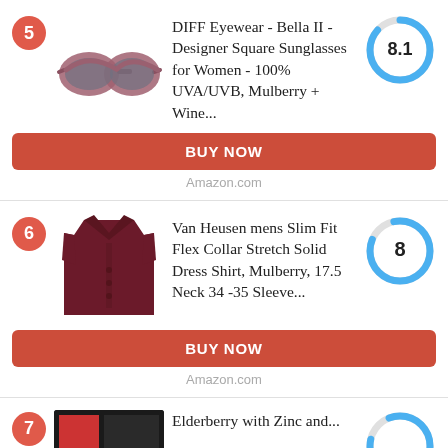[Figure (photo): Product card 5: DIFF Eyewear sunglasses with score donut showing 8.1]
DIFF Eyewear - Bella II - Designer Square Sunglasses for Women - 100% UVA/UVB, Mulberry + Wine...
BUY NOW
Amazon.com
[Figure (photo): Product card 6: Van Heusen dress shirt with score donut showing 8]
Van Heusen mens Slim Fit Flex Collar Stretch Solid Dress Shirt, Mulberry, 17.5 Neck 34 -35 Sleeve...
BUY NOW
Amazon.com
[Figure (photo): Partial product card 7 at bottom, partially visible]